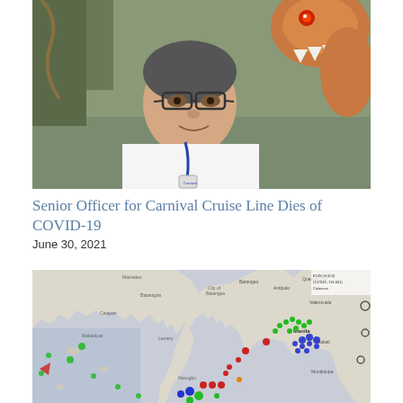[Figure (photo): A man wearing glasses and a white shirt with a Carnival Cruise Line lanyard, taking a selfie in front of a large decorative dragon or reptile sculpture.]
Senior Officer for Carnival Cruise Line Dies of COVID-19
June 30, 2021
[Figure (map): A marine traffic map showing the coast of Luzon, Philippines near Manila Bay, with colored ship markers (green, blue, red, orange) clustered around Manila and surrounding waters. Place names visible include Batangas, Manila, Quezon City, Valenzuela, Makati, Muntinlupa, Bacoor, and others.]